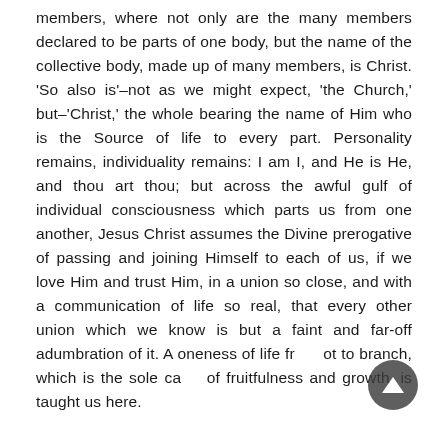members, where not only are the many members declared to be parts of one body, but the name of the collective body, made up of many members, is Christ. 'So also is'–not as we might expect, 'the Church,' but–'Christ,' the whole bearing the name of Him who is the Source of life to every part. Personality remains, individuality remains: I am I, and He is He, and thou art thou; but across the awful gulf of individual consciousness which parts us from one another, Jesus Christ assumes the Divine prerogative of passing and joining Himself to each of us, if we love Him and trust Him, in a union so close, and with a communication of life so real, that every other union which we know is but a faint and far-off adumbration of it. A oneness of life from root to branch, which is the sole cause of fruitfulness and growth, is taught us here.